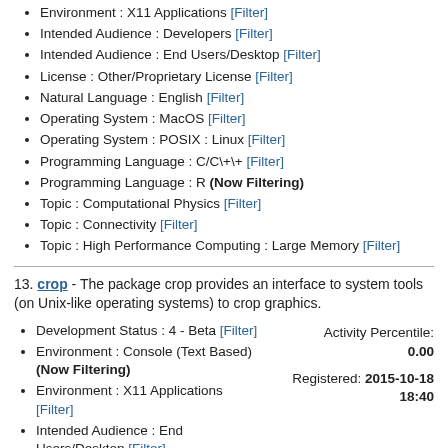Environment : X11 Applications [Filter]
Intended Audience : Developers [Filter]
Intended Audience : End Users/Desktop [Filter]
License : Other/Proprietary License [Filter]
Natural Language : English [Filter]
Operating System : MacOS [Filter]
Operating System : POSIX : Linux [Filter]
Programming Language : C/C\+\+ [Filter]
Programming Language : R (Now Filtering)
Topic : Computational Physics [Filter]
Topic : Connectivity [Filter]
Topic : High Performance Computing : Large Memory [Filter]
13. crop - The package crop provides an interface to system tools (on Unix-like operating systems) to crop graphics.
Development Status : 4 - Beta [Filter]
Environment : Console (Text Based) (Now Filtering)
Environment : X11 Applications [Filter]
Intended Audience : End Users/Desktop [Filter]
Activity Percentile: 0.00
Registered: 2015-10-18 18:40